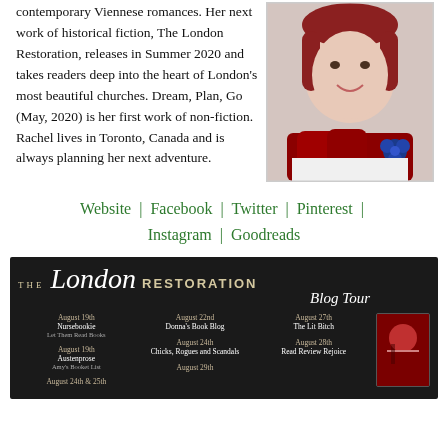contemporary Viennese romances. Her next work of historical fiction, The London Restoration, releases in Summer 2020 and takes readers deep into the heart of London's most beautiful churches. Dream, Plan, Go (May, 2020) is her first work of non-fiction. Rachel lives in Toronto, Canada and is always planning her next adventure.
[Figure (photo): Portrait photo of a woman with red hair wearing a red scarf with blue flower accessory, smiling]
Website | Facebook | Twitter | Pinterest | Instagram | Goodreads
[Figure (infographic): The London Restoration Blog Tour banner on dark background. Lists blog tour dates: August 19th - Nursebookie, Let Them Read Books; August 19th - Austenprose, Amy's Booket List; August 22nd - Donna's Book Blog; August 24th - Chicks, Rogues and Scandals; August 24th & 25th (cut off); August 27th - The Lit Bitch; August 28th - Read Review Rejoice; August 29th (cut off). Book cover image visible on right side.]